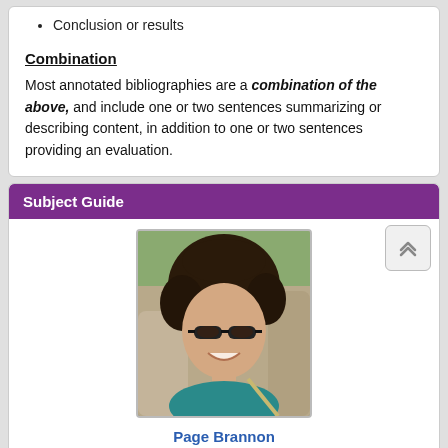Conclusion or results
Combination
Most annotated bibliographies are a combination of the above, and include one or two sentences summarizing or describing content, in addition to one or two sentences providing an evaluation.
Subject Guide
[Figure (photo): Profile photo of Page Brannon, a woman with curly dark hair and sunglasses, smiling, seated in a car, wearing a teal top.]
Page Brannon
Email Me